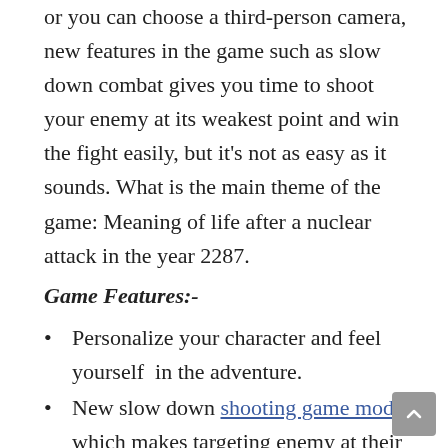or you can choose a third-person camera, new features in the game such as slow down combat gives you time to shoot your enemy at its weakest point and win the fight easily, but it's not as easy as it sounds. What is the main theme of the game: Meaning of life after a nuclear attack in the year 2287.
Game Features:-
Personalize your character and feel yourself  in the adventure.
New slow down shooting game mode which makes targeting enemy at their weakest point more easier.
Upgraded graphics and lightning engine gives you